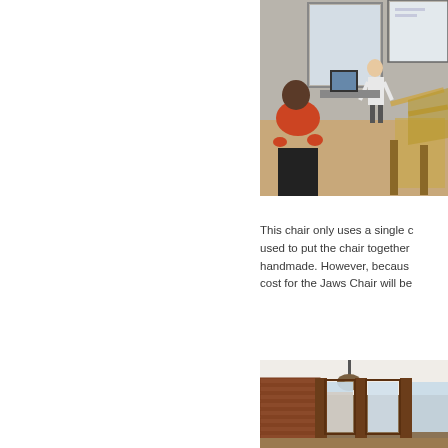[Figure (photo): Indoor workshop or classroom scene: a person standing presenting near a projection screen, another person seated in foreground wearing red, with a cardboard structure/chair prototype visible on the right side.]
This chair only uses a single c... used to put the chair together... handmade. However, becaus... cost for the Jaws Chair will be...
[Figure (photo): Interior room with brick walls, wooden window frames, pendant light hanging from ceiling, windows showing exterior light.]